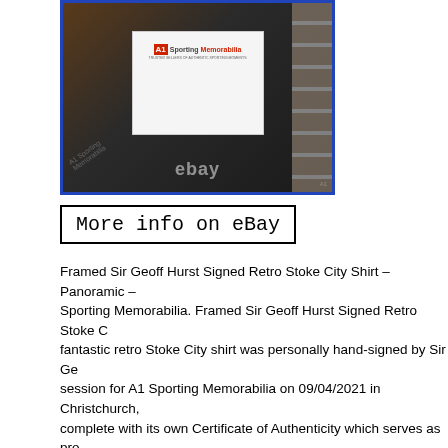[Figure (photo): Person holding a white card with A1 Sporting Memorabilia logo, standing in a warehouse. eBay watermark overlay visible on the image.]
More info on eBay
Framed Sir Geoff Hurst Signed Retro Stoke City Shirt – Panoramic – Sporting Memorabilia. Framed Sir Geoff Hurst Signed Retro Stoke C... fantastic retro Stoke City shirt was personally hand-signed by Sir Ge... session for A1 Sporting Memorabilia on 09/04/2021 in Christchurch, complete with its own Certificate of Authenticity which serves as pro... genuine. Panoramic shirt framing features a large landscape frame a... luxurious double mount, one large high resolution action photo and c... item we sell is genuinely hand signed. Due to the fact that every sign... the image displayed of the product is used as an example – the signa... vary slightly. Approximate size: 28.5 (H) x 38.5 (W) x 1 (D) inches. Si... signed product is issued with a Certificate of Authenticity (COA), whi... has been hand-signed. The certificate includes many security feature...